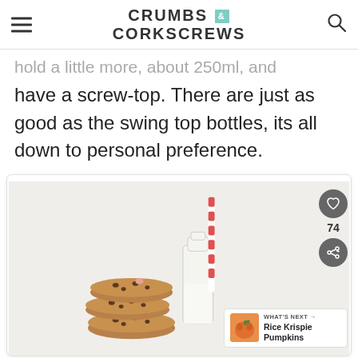CRUMBS & CORKSCREWS
hold a little more, about 250ml, and have a screw-top. There are just as good as the swing top bottles, its all down to personal preference.
[Figure (photo): Stack of chocolate chip cookies next to a glass bottle of milk with a red and white striped straw, on a light background. Social sharing buttons (heart icon with count 74, share icon) on right side. 'What's Next: Rice Krispie Pumpkins' widget shown at bottom right.]